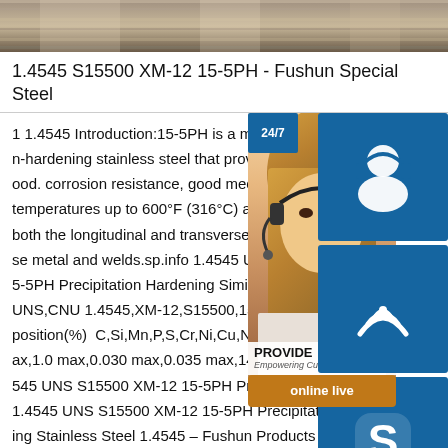[Figure (photo): Photo banner showing metal/steel products (rails or bars) in a warehouse or industrial setting]
1.4545 S15500 XM-12 15-5PH - Fushun Special Steel
1 1.4545 Introduction:15-5PH is a martensitic precipitation-hardening stainless steel that provides good. corrosion resistance, good mechanical properties at temperatures up to 600°F (316°C) and good toughness in both the longitudinal and transverse directions in base metal and welds.sp.info 1.4545 UNS ... 15-5PH Precipitation Hardening Similar Grade UNS,CNU 1.4545,XM-12,S15500,15-5PH Chemical Composition(%) C,Si,Mn,P,S,Cr,Ni,Cu,Nb+Ta 0.07 max,1.0 max,1.0 max,0.030 max,0.035 max,14.0-15.0,3 sp.info 1.4545 UNS S15500 XM-12 15-5PH Precipitation Hardening 1.4545 UNS S15500 XM-12 15-5PH Precipitation Hardening Stainless Steel 1.4545 - Fushun Products – Made in Ch
[Figure (other): Customer service overlay panel with: 24/7 label, headset icon button (blue), phone/call icon button (blue), Skype icon button (blue), PROVIDE Empowering Customer text, online live orange button, and a photo of a woman with headset]